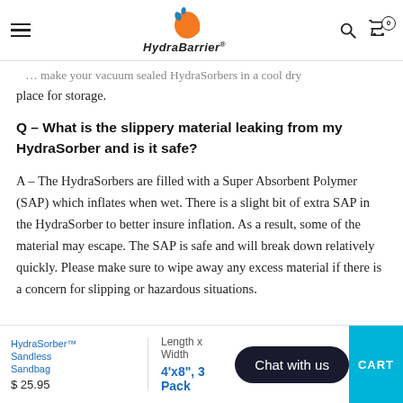HydraBarrier navigation header with logo, hamburger menu, search and cart icons
place for storage.
Q – What is the slippery material leaking from my HydraSorber and is it safe?
A – The HydraSorbers are filled with a Super Absorbent Polymer (SAP) which inflates when wet. There is a slight bit of extra SAP in the HydraSorber to better insure inflation. As a result, some of the material may escape. The SAP is safe and will break down relatively quickly. Please make sure to wipe away any excess material if there is a concern for slipping or hazardous situations.
HydraSorber™ Sandless Sandbag $25.95 | Length x Width: 4'x8", 3 Pack | Chat with us | CART